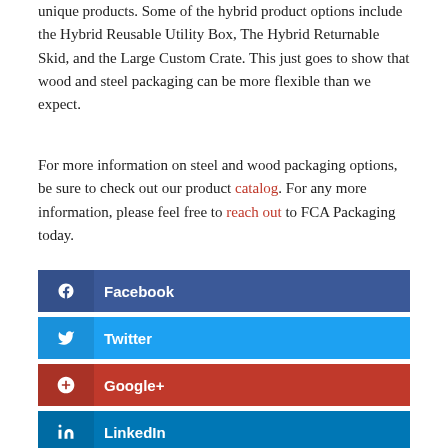unique products. Some of the hybrid product options include the Hybrid Reusable Utility Box, The Hybrid Returnable Skid, and the Large Custom Crate. This just goes to show that wood and steel packaging can be more flexible than we expect.
For more information on steel and wood packaging options, be sure to check out our product catalog. For any more information, please feel free to reach out to FCA Packaging today.
[Figure (infographic): Social media share buttons for Facebook, Twitter, Google+, and LinkedIn]